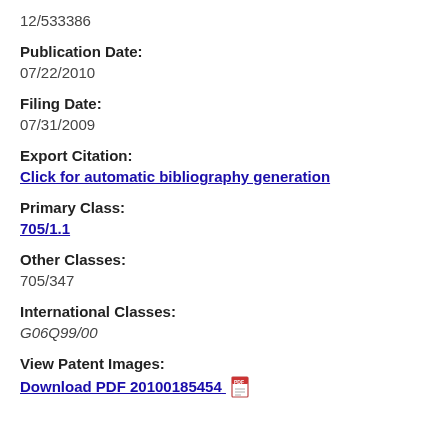12/533386
Publication Date:
07/22/2010
Filing Date:
07/31/2009
Export Citation:
Click for automatic bibliography generation
Primary Class:
705/1.1
Other Classes:
705/347
International Classes:
G06Q99/00
View Patent Images:
Download PDF 20100185454